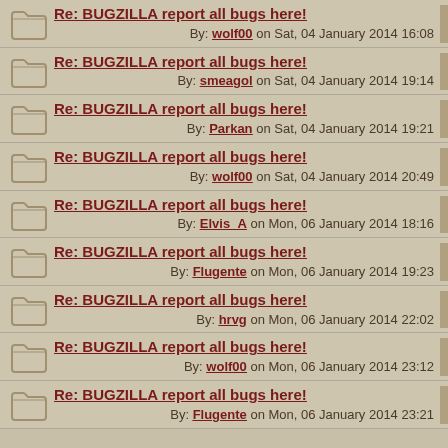Re: BUGZILLA report all bugs here! By: wolf00 on Sat, 04 January 2014 16:08
Re: BUGZILLA report all bugs here! By: smeagol on Sat, 04 January 2014 19:14
Re: BUGZILLA report all bugs here! By: Parkan on Sat, 04 January 2014 19:21
Re: BUGZILLA report all bugs here! By: wolf00 on Sat, 04 January 2014 20:49
Re: BUGZILLA report all bugs here! By: Elvis_A on Mon, 06 January 2014 18:16
Re: BUGZILLA report all bugs here! By: Flugente on Mon, 06 January 2014 19:23
Re: BUGZILLA report all bugs here! By: hrvg on Mon, 06 January 2014 22:02
Re: BUGZILLA report all bugs here! By: wolf00 on Mon, 06 January 2014 23:12
Re: BUGZILLA report all bugs here! By: Flugente on Mon, 06 January 2014 23:21